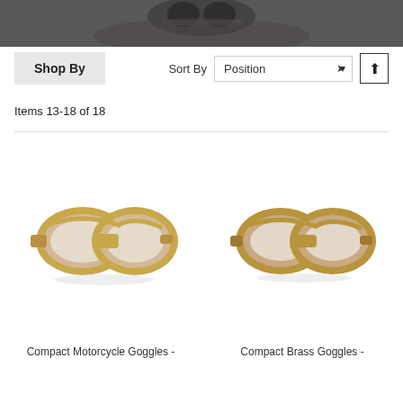[Figure (photo): Partial photo of a person wearing vintage goggles, shown at top of page]
Shop By
Sort By  Position
Items 13-18 of 18
[Figure (photo): Compact Motorcycle Goggles with brass/gold frame and tan leather, white background]
[Figure (photo): Compact Brass Goggles with brass/gold frame and tan leather, white background]
Compact Motorcycle Goggles -
Compact Brass Goggles -